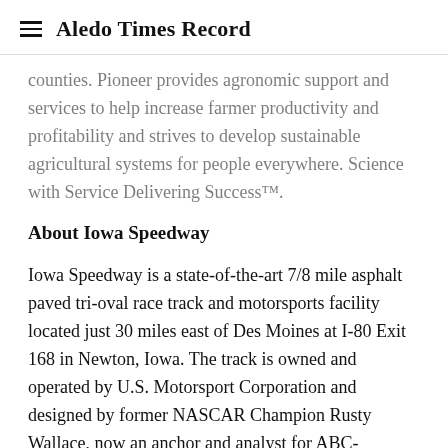Aledo Times Record
counties. Pioneer provides agronomic support and services to help increase farmer productivity and profitability and strives to develop sustainable agricultural systems for people everywhere. Science with Service Delivering Success™.
About Iowa Speedway
Iowa Speedway is a state-of-the-art 7/8 mile asphalt paved tri-oval race track and motorsports facility located just 30 miles east of Des Moines at I-80 Exit 168 in Newton, Iowa. The track is owned and operated by U.S. Motorsport Corporation and designed by former NASCAR Champion Rusty Wallace, now an anchor and analyst for ABC-TV/ESPN. Iowa Speedway is designed for mor...